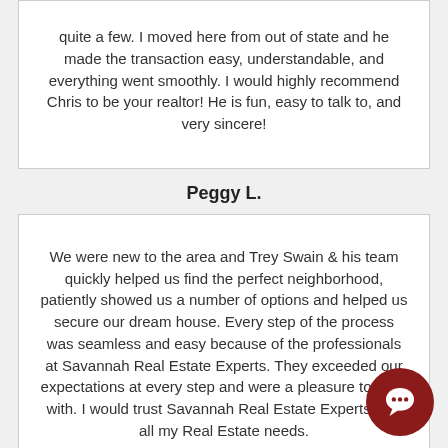quite a few. I moved here from out of state and he made the transaction easy, understandable, and everything went smoothly. I would highly recommend Chris to be your realtor! He is fun, easy to talk to, and very sincere!
Peggy L.
We were new to the area and Trey Swain & his team quickly helped us find the perfect neighborhood, patiently showed us a number of options and helped us secure our dream house. Every step of the process was seamless and easy because of the professionals at Savannah Real Estate Experts. They exceeded our expectations at every step and were a pleasure to work with. I would trust Savannah Real Estate Experts with all my Real Estate needs.